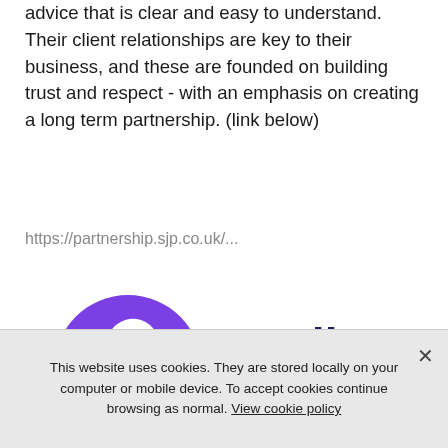advice that is clear and easy to understand. Their client relationships are key to their business, and these are founded on building trust and respect - with an emphasis on creating a long term partnership. (link below)
https://partnership.sjp.co.uk/...
[Figure (logo): Starling Bank logo: purple circle with stylized 'S' shape, next to dark navy 'Starling Bank' wordmark text]
This website uses cookies. They are stored locally on your computer or mobile device. To accept cookies continue browsing as normal. View cookie policy